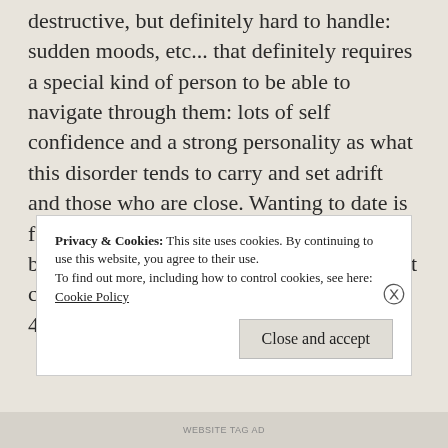destructive, but definitely hard to handle: sudden moods, etc... that definitely requires a special kind of person to be able to navigate through them: lots of self confidence and a strong personality as what this disorder tends to carry and set adrift and those who are close. Wanting to date is fair in that situation, not only for yourself, but also for that special someone who might click with you... dating and relationships is 49% about us, 51% about the other.
Privacy & Cookies: This site uses cookies. By continuing to use this website, you agree to their use.
To find out more, including how to control cookies, see here: Cookie Policy
Close and accept
WEBSITE TAG AD